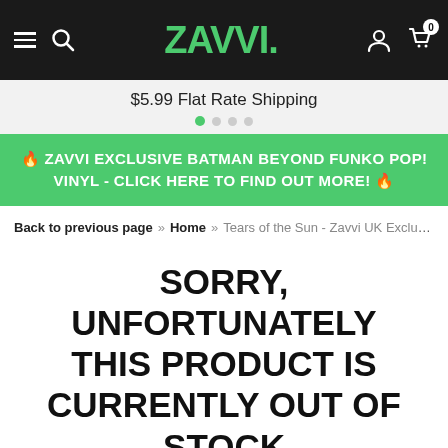ZAVVI. [navigation bar with hamburger menu, search, logo, account, cart]
$5.99 Flat Rate Shipping
🔥 ZAVVI EXCLUSIVE BATMAN BEYOND FUNKO POP! VINYL - CLICK HERE TO FIND OUT MORE! 🔥
Back to previous page  »  Home  »  Tears of the Sun - Zavvi UK Exclusive Lim…
SORRY, UNFORTUNATELY THIS PRODUCT IS CURRENTLY OUT OF STOCK
OTHER CUSTOMERS PURCHASED INSTEAD